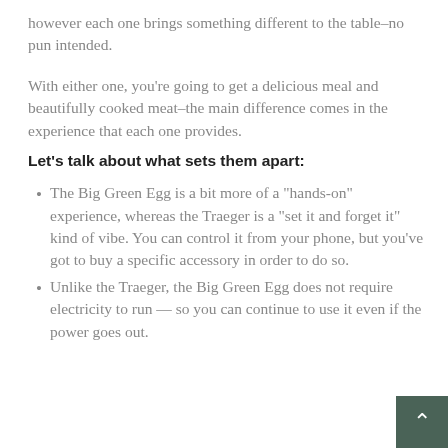however each one brings something different to the table–no pun intended.
With either one, you're going to get a delicious meal and beautifully cooked meat–the main difference comes in the experience that each one provides.
Let's talk about what sets them apart:
The Big Green Egg is a bit more of a "hands-on" experience, whereas the Traeger is a "set it and forget it" kind of vibe. You can control it from your phone, but you've got to buy a specific accessory in order to do so.
Unlike the Traeger, the Big Green Egg does not require electricity to run — so you can continue to use it even if the power goes out.